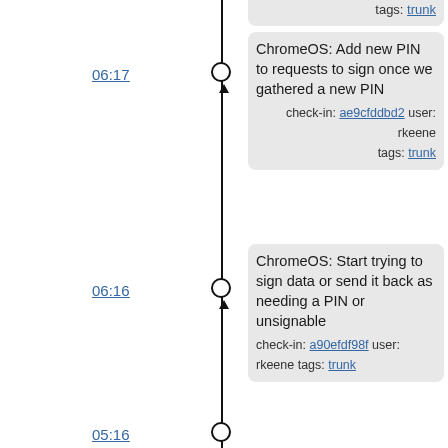tags: trunk
06:17
ChromeOS: Add new PIN to requests to sign once we gathered a new PIN
check-in: ae9cfddbd2 user: rkeene tags: trunk
06:16
ChromeOS: Start trying to sign data or send it back as needing a PIN or unsignable
check-in: a90efdf98f user: rkeene tags: trunk
05:16
ChromeOS: Converted callback storage from an array to a hash, since we don't care about ordering
check-in: a655f43d3b user: rkeene tags: trunk
2016-02-13
15:43
ChromeOS: More work towards making the PIN entry more useful
check-in: 16fd3e5408 user: rkeene tags: trunk
10:09